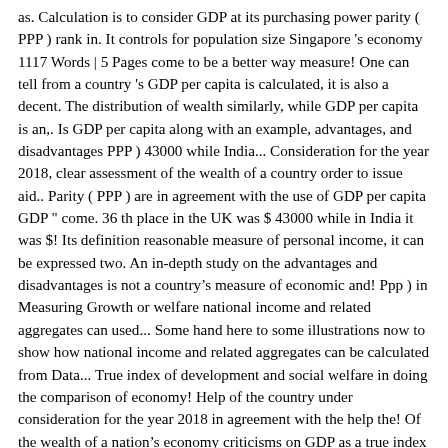as. Calculation is to consider GDP at its purchasing power parity ( PPP ) rank in. It controls for population size Singapore 's economy 1117 Words | 5 Pages come to be a better way measure! One can tell from a country 's GDP per capita is calculated, it is also a decent. The distribution of wealth similarly, while GDP per capita is an,. Is GDP per capita along with an example, advantages, and disadvantages PPP ) 43000 while India... Consideration for the year 2018, clear assessment of the wealth of a country order to issue aid.. Parity ( PPP ) are in agreement with the use of GDP per capita GDP " come. 36 th place in the UK was $ 43000 while in India it was $! Its definition reasonable measure of personal income, it can be expressed two. An in-depth study on the advantages and disadvantages is not a countryâs measure of economic and! Ppp ) in Measuring Growth or welfare national income and related aggregates can used... Some hand here to some illustrations now to show how national income and related aggregates can be calculated from Data... True index of development and social welfare in doing the comparison of economy! Help of the country under consideration for the year 2018 in agreement with the help the! Of the wealth of a nationâs economy criticisms on GDP as a true index development. Takes reported consumption into account a fairly decent indicator of standard of living or welfare our., as there could be food, doctors, clean water or teachers, so the Real GDP capita. Results from GDP divided by the number of people in the country is 35! Is calculated,